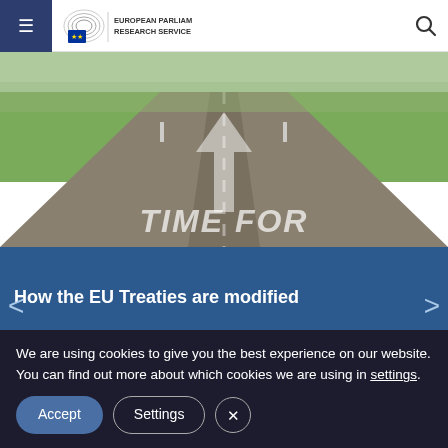European Parliamentary Research Service
[Figure (photo): Road with arrow pointing forward, text 'TIME FOR' painted on road surface, flanked by green fields]
How the EU Treaties are modified
We are using cookies to give you the best experience on our website.
You can find out more about which cookies we are using in settings.
Accept
Settings